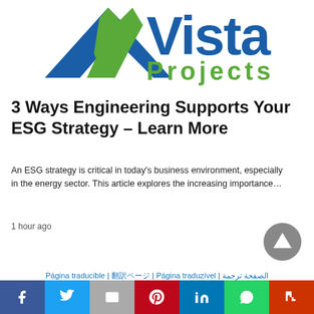[Figure (logo): Vista Projects logo with blue mountain/triangle graphic and green center stripe, with 'Vista' in dark blue and 'Projects' in green text]
3 Ways Engineering Supports Your ESG Strategy – Learn More
An ESG strategy is critical in today's business environment, especially in the energy sector. This article explores the increasing importance…
1 hour ago
Página traducible | 翻訳ページ | Página traduzível | الصفحة ترجمة